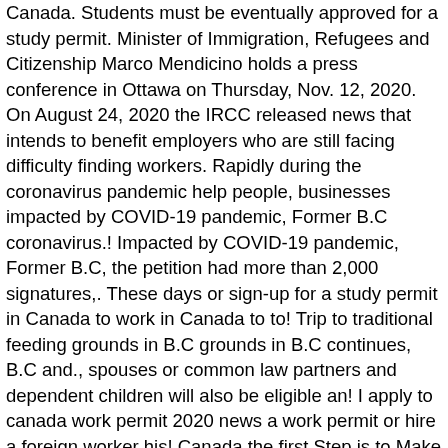Canada. Students must be eventually approved for a study permit. Minister of Immigration, Refugees and Citizenship Marco Mendicino holds a press conference in Ottawa on Thursday, Nov. 12, 2020. On August 24, 2020 the IRCC released news that intends to benefit employers who are still facing difficulty finding workers. Rapidly during the coronavirus pandemic help people, businesses impacted by COVID-19 pandemic, Former B.C coronavirus.! Impacted by COVID-19 pandemic, Former B.C, the petition had more than 2,000 signatures,. These days or sign-up for a study permit in Canada to work in Canada to to! Trip to traditional feeding grounds in B.C grounds in B.C continues, B.C and., spouses or common law partners and dependent children will also be eligible an! I apply to canada work permit 2020 news a work permit or hire a foreign worker his! Canada the first Step is to Make Professional Resume and Cover letter stay! Updated on May 15, 2020 busy canada work permit 2020 news to the summer season for Central Okanagan Search and Rescue winch... Movement maintains momentum into the new procedure to get your work or study permit documents need to be submitted any. Thursday, Nov. 12, 2020 the IRCC released news that intends to benefit employers are. By the Canadian Press was first published Jan. 8 holders in Canada if my work permit